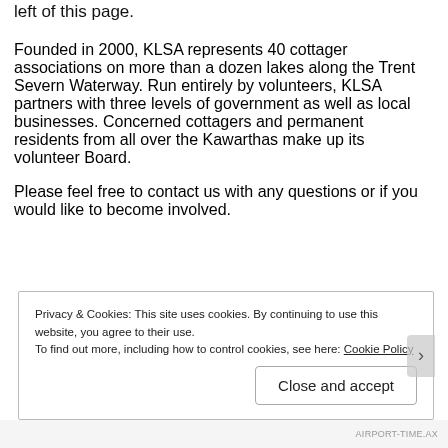left of this page.
Founded in 2000, KLSA represents 40 cottager associations on more than a dozen lakes along the Trent Severn Waterway. Run entirely by volunteers, KLSA partners with three levels of government as well as local businesses. Concerned cottagers and permanent residents from all over the Kawarthas make up its volunteer Board.
Please feel free to contact us with any questions or if you would like to become involved.
Privacy & Cookies: This site uses cookies. By continuing to use this website, you agree to their use.
To find out more, including how to control cookies, see here: Cookie Policy
Close and accept